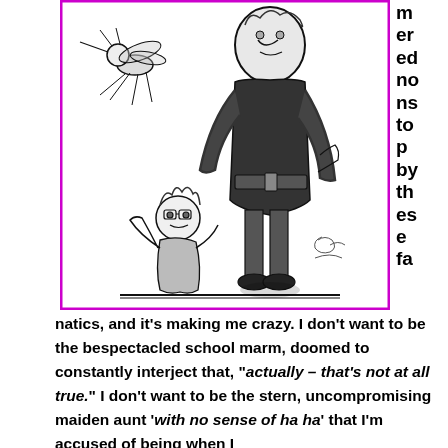[Figure (illustration): Black and white cartoon/sketch illustration showing comic figures: a mosquito-like creature top left, a tall figure in the center being observed, and a small disheveled character at the bottom left, all drawn in a loose ink style, framed by a magenta/pink border rectangle.]
m er ed no ns to p by th es e fa
natics, and it's making me crazy. I don't want to be the bespectacled school marm, doomed to constantly interject that, “actually – that’s not at all true.” I don’t want to be the stern, uncompromising maiden aunt ‘with no sense of ha ha’ that I’m accused of being when I